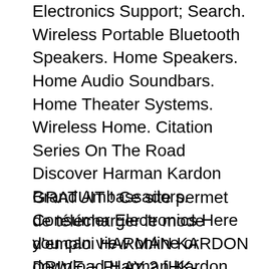Electronics Support; Search. Wireless Portable Bluetooth Speakers. Home Speakers. Home Audio Soundbars. Home Theater Systems. Wireless Home. Citation Series On The Road Discover Harman Kardon Brand Ambassadors. Consumer Electronics Here you can view online or download Harman Kardon DRIVE AND PLAY 2 (serv.man2) EMC - CB Certificate in pdf. This EMC - CB Certificate can help you recover, restore, fix, disassemble and repair Harman Kardon DRIVE AND PLAY 2 (serv.man2) Car Audio.
GRATUIT ! Ce site permet de télécharger le mode d'emploi HARMAN KARDON DRIVE + PLAY 2 [HK-DP2EU] en Français. Télécharger mode d'emploi, notice, manuel quelque soit la marque. Archivez vos modes d'emploi pour les